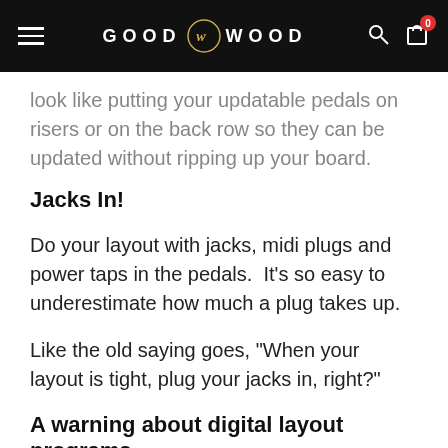GOOD W WOOD
look like putting your updatable pedals on risers or on the back row so they can be updated without ripping up your board.
Jacks In!
Do your layout with jacks, midi plugs and power taps in the pedals.  It's so easy to underestimate how much a plug takes up.
Like the old saying goes, "When your layout is tight, plug your jacks in, right?"
A warning about digital layout programs.